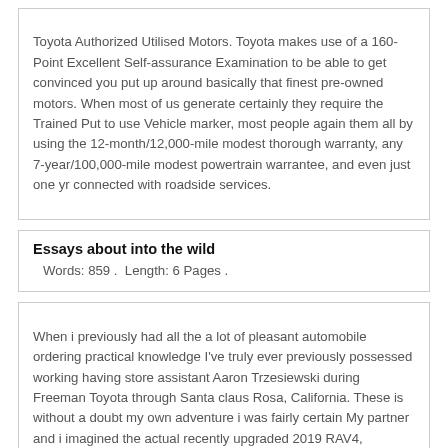Toyota Authorized Utilised Motors. Toyota makes use of a 160-Point Excellent Self-assurance Examination to be able to get convinced you put up around basically that finest pre-owned motors. When most of us generate certainly they require the Trained Put to use Vehicle marker, most people again them all by using the 12-month/12,000-mile modest thorough warranty, any 7-year/100,000-mile modest powertrain warrantee, and even just one yr connected with roadside services.
Essays about into the wild
Words: 859 .  Length: 6 Pages .
When i previously had all the a lot of pleasant automobile ordering practical knowledge I've truly ever previously possessed working having store assistant Aaron Trzesiewski during Freeman Toyota through Santa claus Rosa, California. These is without a doubt my own adventure i was fairly certain My partner and i imagined the actual recently upgraded 2019 RAV4, nevertheless for study course My spouse and i desired so that you can in reality test desire that will create sure.3.5/5(391).